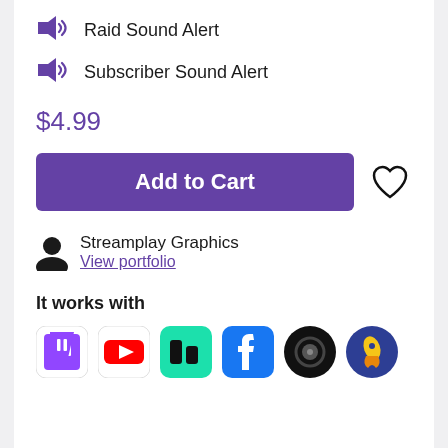Raid Sound Alert
Subscriber Sound Alert
$4.99
Add to Cart
Streamplay Graphics
View portfolio
It works with
[Figure (infographic): Platform compatibility icons: Twitch, YouTube, Streamlabs, Facebook, OBS, and another streaming app]